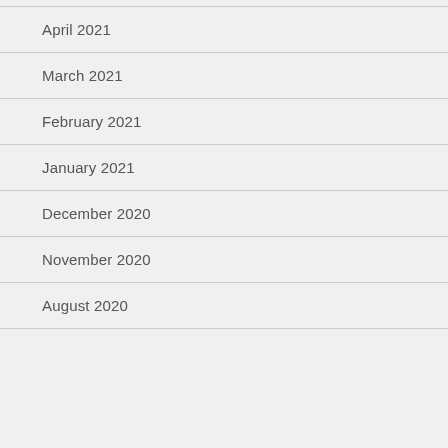April 2021
March 2021
February 2021
January 2021
December 2020
November 2020
August 2020